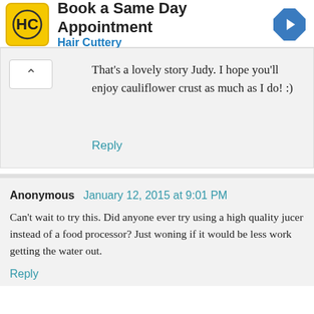[Figure (screenshot): Hair Cuttery advertisement banner with yellow HC logo, title 'Book a Same Day Appointment', subtitle 'Hair Cuttery', and blue diamond arrow icon on right]
That's a lovely story Judy. I hope you'll enjoy cauliflower crust as much as I do! :)
Reply
Anonymous  January 12, 2015 at 9:01 PM
Can't wait to try this. Did anyone ever try using a high quality jucer instead of a food processor? Just woning if it would be less work getting the water out.
Reply